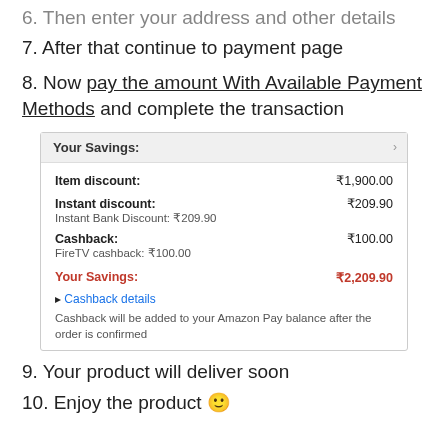6. Then enter your address and other details
7. After that continue to payment page
8. Now pay the amount With Available Payment Methods and complete the transaction
[Figure (screenshot): Your Savings box showing Item discount: ₹1,900.00, Instant discount: ₹209.90 (Instant Bank Discount: ₹209.90), Cashback: ₹100.00 (FireTV cashback: ₹100.00), Your Savings: ₹2,209.90, and Cashback details link with note that cashback will be added to Amazon Pay balance after order is confirmed.]
9. Your product will deliver soon
10. Enjoy the product 🙂